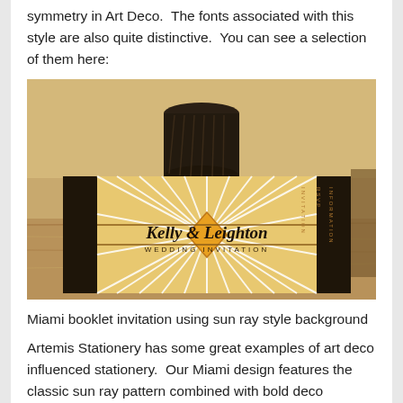symmetry in Art Deco.  The fonts associated with this style are also quite distinctive.  You can see a selection of them here:
[Figure (photo): A wedding invitation booklet with an Art Deco sun ray style background, featuring the text 'Kelly & Leighton WEDDING INVITATION' in script and decorative fonts. The invitation is placed on a wooden surface next to a dark decorated cylindrical container.]
Miami booklet invitation using sun ray style background
Artemis Stationery has some great examples of art deco influenced stationery.  Our Miami design features the classic sun ray pattern combined with bold deco